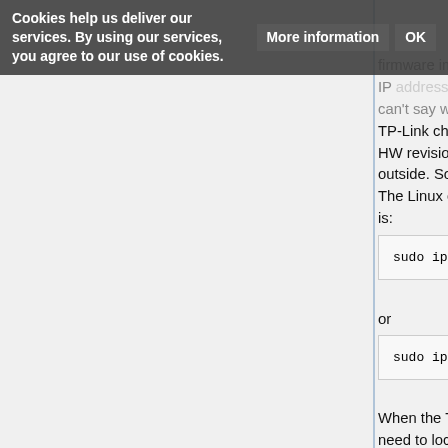Cookies help us deliver our services. By using our services, you agree to our use of cookies. More information OK
firmware image. For TP-Link routers this 
IP address is 192.168.0.225 or 192.168.1.225. You 
can't say which one is right for you as 
TP-Link changed that with some internal 
HW revisions you can't see from the 
outside. So please give both a chance. 
The Linux command to be used for this 
is:
or
When the TFTP server is setup fine, you 
need to locate the firmware file into the 
TSTP servers data folder, which is 
"/tftpboot" in may cases.